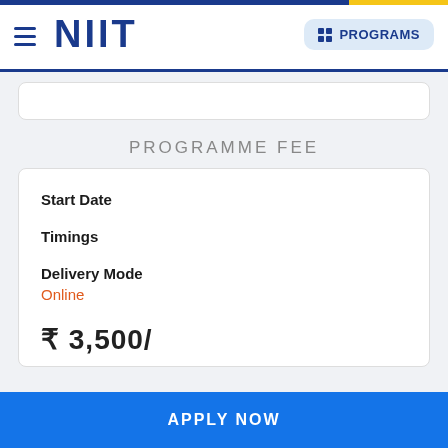NIIT — PROGRAMS
PROGRAMME FEE
| Field | Value |
| --- | --- |
| Start Date |  |
| Timings |  |
| Delivery Mode | Online |
| Fee | ₹ 3,500/ |
APPLY NOW